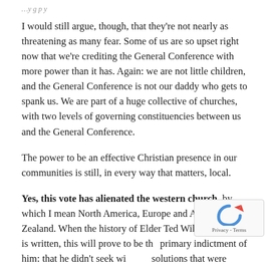…y g p y
I would still argue, though, that they're not nearly as threatening as many fear. Some of us are so upset right now that we're crediting the General Conference with more power than it has. Again: we are not little children, and the General Conference is not our daddy who gets to spank us. We are part of a huge collective of churches, with two levels of governing constituencies between us and the General Conference.
The power to be an effective Christian presence in our communities is still, in every way that matters, local.
Yes, this vote has alienated the western church, by which I mean North America, Europe and Australia/New Zealand. When the history of Elder Ted Wilson's tenure is written, this will prove to be the primary indictment of him: that he didn't seek win-win solutions that were readily available and could have maintained greater denominational harmony. He…